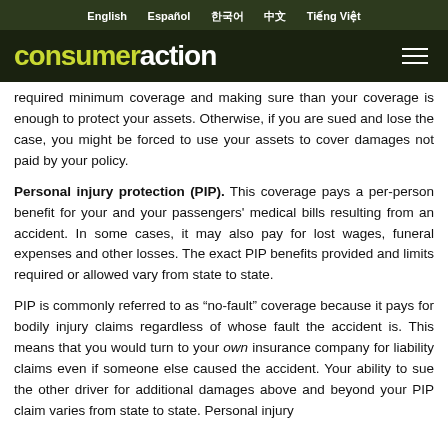English  Español  한국어  中文  Tiếng Việt
consumeraction
required minimum coverage and making sure than your coverage is enough to protect your assets. Otherwise, if you are sued and lose the case, you might be forced to use your assets to cover damages not paid by your policy.
Personal injury protection (PIP). This coverage pays a per-person benefit for your and your passengers' medical bills resulting from an accident. In some cases, it may also pay for lost wages, funeral expenses and other losses. The exact PIP benefits provided and limits required or allowed vary from state to state.
PIP is commonly referred to as “no-fault” coverage because it pays for bodily injury claims regardless of whose fault the accident is. This means that you would turn to your own insurance company for liability claims even if someone else caused the accident. Your ability to sue the other driver for additional damages above and beyond your PIP claim varies from state to state. Personal injury